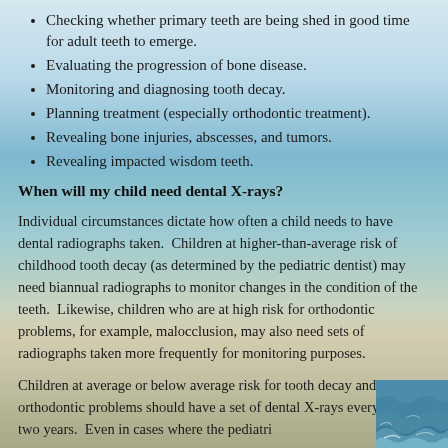Checking whether primary teeth are being shed in good time for adult teeth to emerge.
Evaluating the progression of bone disease.
Monitoring and diagnosing tooth decay.
Planning treatment (especially orthodontic treatment).
Revealing bone injuries, abscesses, and tumors.
Revealing impacted wisdom teeth.
When will my child need dental X-rays?
Individual circumstances dictate how often a child needs to have dental radiographs taken.  Children at higher-than-average risk of childhood tooth decay (as determined by the pediatric dentist) may need biannual radiographs to monitor changes in the condition of the teeth.  Likewise, children who are at high risk for orthodontic problems, for example, malocclusion, may also need sets of radiographs taken more frequently for monitoring purposes.
Children at average or below average risk for tooth decay and orthodontic problems should have a set of dental X-rays every one to two years.  Even in cases where the pediatri